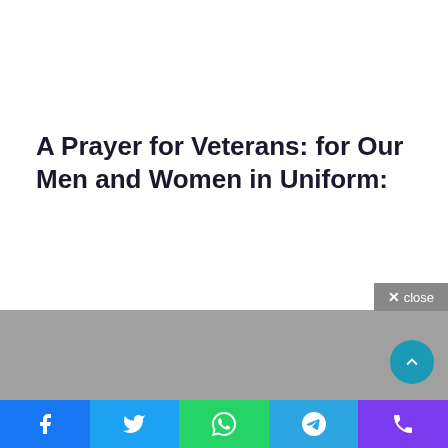A Prayer for Veterans: for Our Men and Women in Uniform:
[Figure (screenshot): UI close button overlay showing '× close' on gray background in top right area]
[Figure (screenshot): Gray section with a teal circular scroll-up button (chevron up icon) in bottom right]
[Figure (screenshot): Social sharing bar with five buttons: Facebook (blue), Twitter (light blue), WhatsApp (green), Telegram (blue), Phone/Viber (purple)]